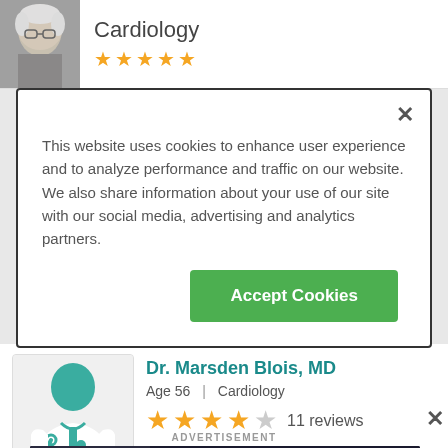Cardiology
This website uses cookies to enhance user experience and to analyze performance and traffic on our website. We also share information about your use of our site with our social media, advertising and analytics partners.
Accept Cookies
Dr. Marsden Blois, MD
Age 56 | Cardiology
11 reviews
ADVERTISEMENT